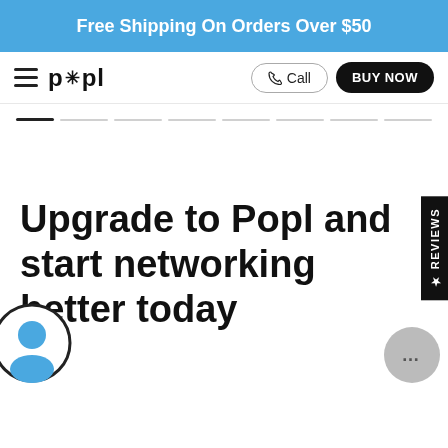Free Shipping On Orders Over $50
[Figure (logo): Popl logo with hamburger menu icon, call button, and BUY NOW button in navbar]
[Figure (other): Progress indicator bar with first segment active (dark) and remaining segments in light gray]
[Figure (other): Vertical Reviews tab on right side with star icon]
Upgrade to Popl and start networking better today
[Figure (illustration): User avatar icon circle at bottom left]
[Figure (other): Chat button circle at bottom right with ellipsis]